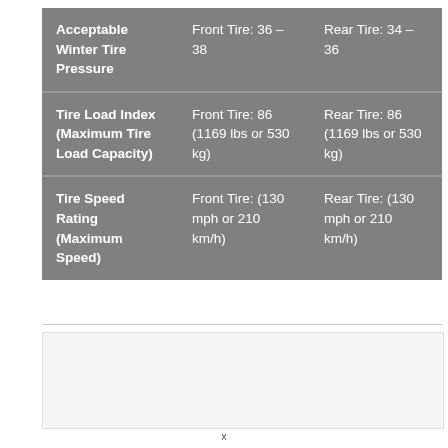|  | Front | Rear |
| --- | --- | --- |
| Acceptable Winter Tire Pressure | Front Tire: 36 – 38 | Rear Tire: 34 – 36 |
| Tire Load Index (Maximum Tire Load Capacity) | Front Tire: 86 (1169 lbs or 530 kg) | Rear Tire: 86 (1169 lbs or 530 kg) |
| Tire Speed Rating (Maximum Speed) | Front Tire: (130 mph or 210 km/h) | Rear Tire: (130 mph or 210 km/h) |